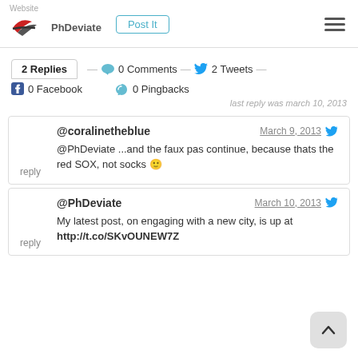Website | PhDeviate | Post It
2 Replies — 0 Comments — 2 Tweets
0 Facebook   0 Pingbacks
last reply was march 10, 2013
@coralinetheblue  March 9, 2013
@PhDeviate ...and the faux pas continue, because thats the red SOX, not socks 🙂
reply
@PhDeviate  March 10, 2013
My latest post, on engaging with a new city, is up at http://t.co/SKvOUNEW7Z
reply